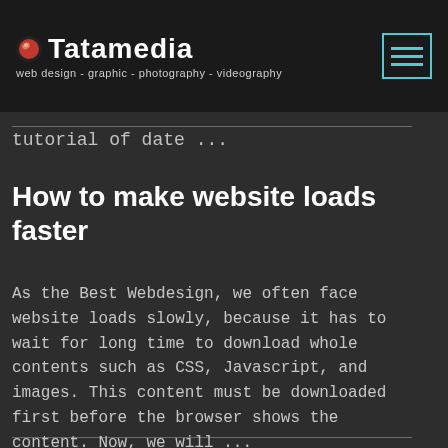Tatamedia — web design - graphic - photography - videography
tutorial of date ...
How to make website loads faster
As the Best Webdesign, we often face website loads slowly, because it has to wait for long time to download whole contents such as CSS, Javascript, and images. This content must be downloaded first before the browser shows the content. Now, we will ...